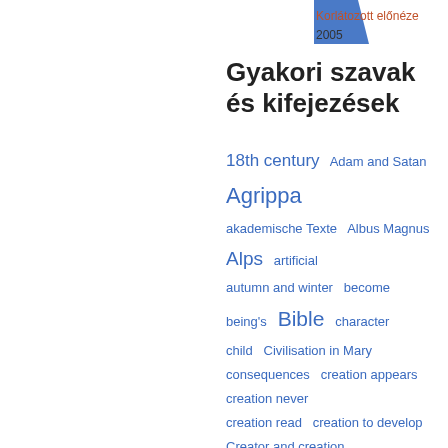[Figure (other): Blue book cover thumbnail, partially visible]
Korlátozott előnéze
2005
Gyakori szavak és kifejezések
18th century  Adam and Satan  Agrippa  akademische Texte  Albus Magnus  Alps  artificial  autumn and winter  become  being's  Bible  character  child  Civilisation in Mary  consequences  creation appears  creation never  creation read  creation to develop  Creator and creation  David Hartley  decline of civilizations  DeLacey's